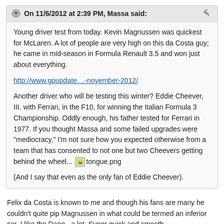On 11/6/2012 at 2:39 PM, Massa said:
Young driver test from today. Kevin Magnussen was quickest for McLaren. A lot of people are very high on this da Costa guy; he came in mid-season in Formula Renault 3.5 and won just about everything.
http://www.gpupdate....-november-2012/
Another driver who will be testing this winter? Eddie Cheever, III. with Ferrari, in the F10, for winning the Italian Formula 3 Championship. Oddly enough, his father tested for Ferrari in 1977. If you thought Massa and some failed upgrades were "mediocracy," I'm not sure how you expected otherwise from a team that has consented to not one but two Cheevers getting behind the wheel... [tongue.png] (And I say that even as the only fan of Eddie Cheever).
Felix da Costa is known to me and though his fans are many he couldn't quite pip Magnussen in what could be termed an inferior car. I like the Dane - a lot. Super quick and smooth.